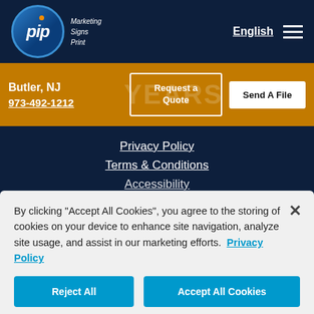[Figure (logo): PIP Marketing Signs Print logo - circular blue logo with pip text and tagline]
English ☰
Butler, NJ
973-492-1212
Request a Quote
Send A File
Privacy Policy
Terms & Conditions
Accessibility
By clicking "Accept All Cookies", you agree to the storing of cookies on your device to enhance site navigation, analyze site usage, and assist in our marketing efforts. Privacy Policy
Reject All
Accept All Cookies
Cookies Settings